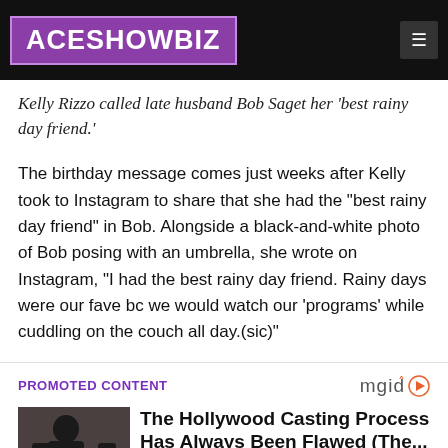ACESHOWBIZ
Kelly Rizzo called late husband Bob Saget her 'best rainy day friend.'
The birthday message comes just weeks after Kelly took to Instagram to share that she had the "best rainy day friend" in Bob. Alongside a black-and-white photo of Bob posing with an umbrella, she wrote on Instagram, "I had the best rainy day friend. Rainy days were our fave bc we would watch our 'programs' while cuddling on the couch all day.(sic)"
PROMOTED CONTENT
[Figure (photo): Promotional photo of a bald man indoors, used for a promoted content article]
The Hollywood Casting Process Has Always Been Flawed (The...